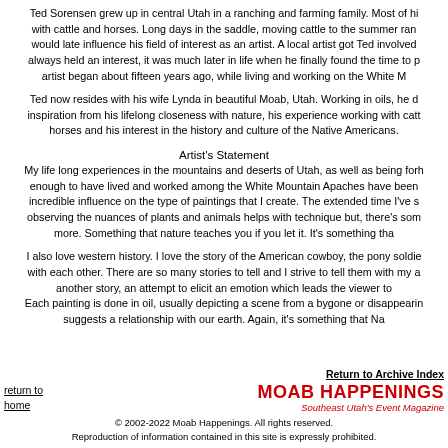Ted Sorensen grew up in central Utah in a ranching and farming family. Most of his youth was spent with cattle and horses. Long days in the saddle, moving cattle to the summer range and other chores would late influence his field of interest as an artist. A local artist got Ted involved in painting. Although he always held an interest, it was much later in life when he finally found the time to pursue his art. His career as an artist began about fifteen years ago, while living and working on the White Mountain Apache Reservation.
Ted now resides with his wife Lynda in beautiful Moab, Utah. Working in oils, he draws much of his inspiration from his lifelong closeness with nature, his experience working with cattle and horses and his interest in the history and culture of the Native Americans.
Artist's Statement
My life long experiences in the mountains and deserts of Utah, as well as being fortunate enough to have lived and worked among the White Mountain Apaches have been an incredible influence on the type of paintings that I create. The extended time I've spent observing the nuances of plants and animals helps with technique but, there's something more. Something that nature teaches you if you let it. It's something tha...
I also love western history. I love the story of the American cowboy, the pony soldiers and their interaction with each other. There are so many stories to tell and I strive to tell them with my art. Each painting is another story, an attempt to elicit an emotion which leads the viewer to... Each painting is done in oil, usually depicting a scene from a bygone or disappearing era, one that suggests a relationship with our earth. Again, it's something that Na...
Return to Archive Index
return to home
MOAB HAPPENINGS
Southeast Utah's Event Magazine
© 2002-2022 Moab Happenings. All rights reserved.
Reproduction of information contained in this site is expressly prohibited.